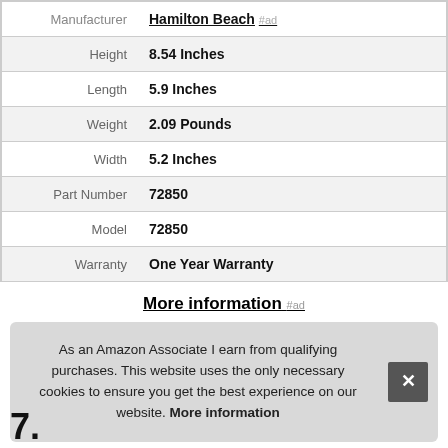| Attribute | Value |
| --- | --- |
| Manufacturer | Hamilton Beach #ad |
| Height | 8.54 Inches |
| Length | 5.9 Inches |
| Weight | 2.09 Pounds |
| Width | 5.2 Inches |
| Part Number | 72850 |
| Model | 72850 |
| Warranty | One Year Warranty |
More information #ad
As an Amazon Associate I earn from qualifying purchases. This website uses the only necessary cookies to ensure you get the best experience on our website. More information
7.